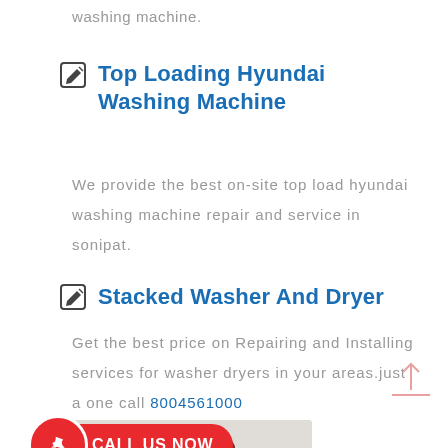washing machine.
Top Loading Hyundai Washing Machine
We provide the best on-site top load hyundai washing machine repair and service in sonipat.
Stacked Washer And Dryer
Get the best price on Repairing and Installing services for washer dryers in your areas.just a one call 8004561000
[Figure (photo): A technician/repairman leaning over and working on a front-loading washing machine]
CALL US NOW